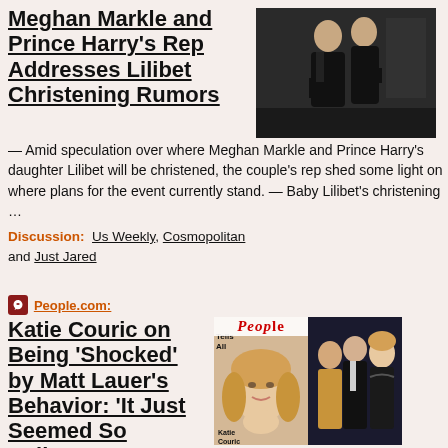Meghan Markle and Prince Harry's Rep Addresses Lilibet Christening Rumors
— Amid speculation over where Meghan Markle and Prince Harry's daughter Lilibet will be christened, the couple's rep shed some light on where plans for the event currently stand.  —  Baby Lilibet's christening …
Discussion:  Us Weekly, Cosmopolitan and Just Jared
[Figure (photo): Photo of two people in formal black attire at an event]
People.com:
Katie Couric on Being 'Shocked' by Matt Lauer's Behavior: 'It Just Seemed So Callous'
— Katie Couric
[Figure (photo): People magazine cover and photo of Katie Couric with two other people at a formal event]